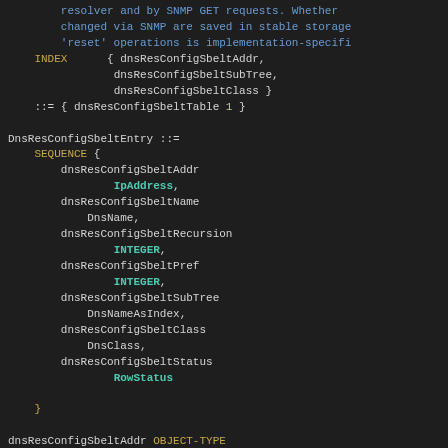resolver and by SNMP GET requests. Whether changes changed via SNMP are saved in stable storage... 'reset' operations is implementation-specific INDEX { dnsResConfigSbeltAddr, dnsResConfigSbeltSubTree, dnsResConfigSbeltClass } ::= { dnsResConfigSbeltTable 1 } DnsResConfigSbeltEntry ::= SEQUENCE { dnsResConfigSbeltAddr IpAddress, dnsResConfigSbeltName DnsName, dnsResConfigSbeltRecursion INTEGER, dnsResConfigSbeltPref INTEGER, dnsResConfigSbeltSubTree DnsNameAsIndex, dnsResConfigSbeltClass DnsClass, dnsResConfigSbeltStatus RowStatus } dnsResConfigSbeltAddr OBJECT-TYPE SYNTAX IpAddress MAX-ACCESS not-accessible STATUS current DESCRIPTION